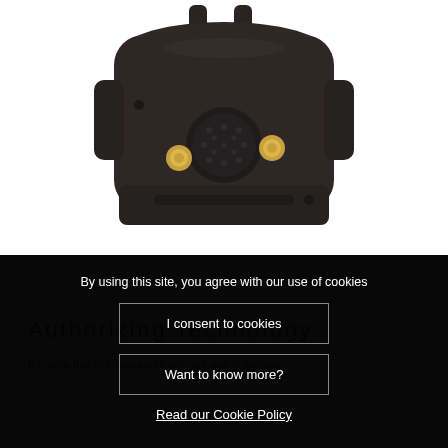[Figure (photo): Close-up photo of a dark brown/black dog training e-collar receiver unit showing two gold contact points and a textured dial/button on the front face, with antenna prongs visible at the top.]
Authorizing Technology
By using this site, you agree with our use of cookies
I consent to cookies
Want to know more?
Read our Cookie Policy